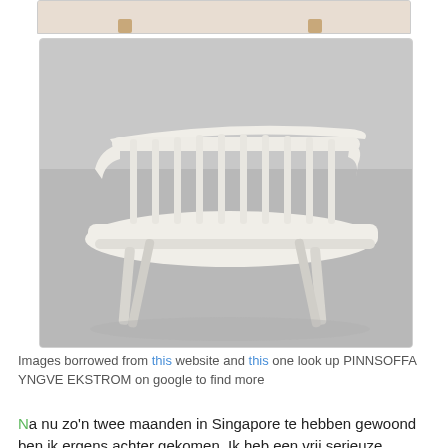[Figure (photo): Top portion of a product photo showing legs/base of a white wooden bench, partially cropped at top of page]
[Figure (photo): White wooden Pinnsoffa Yngve Ekstrom style bench with spindle back and angled legs, photographed against a grey background]
Images borrowed from this website and this one look up PINNSOFFA YNGVE EKSTROM on google to find more
Na nu zo'n twee maanden in Singapore te hebben gewoond ben ik ergens achter gekomen. Ik heb een vrij serieuze Marktplaats verslaving. Vaak is het even kijken zonder echt parels te spotten maar onlangs kwam ik een vergelijkbaar spijlenbankje tegen voor slechts € 85,-. Dat was wel even slikken. In Nederland wonend had ik niet geaarzeld en direct